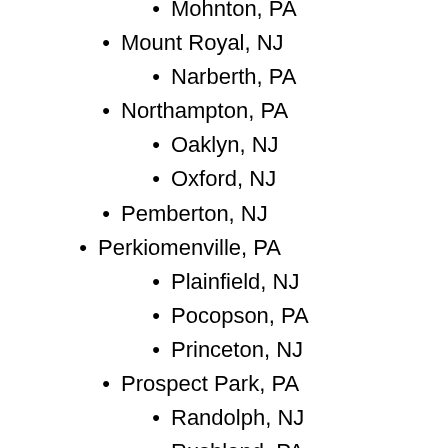Mohnton, PA
Mount Royal, NJ
Narberth, PA
Northampton, PA
Oaklyn, NJ
Oxford, NJ
Pemberton, NJ
Perkiomenville, PA
Plainfield, NJ
Pocopson, PA
Princeton, NJ
Prospect Park, PA
Randolph, NJ
Rushland, PA
Saylorsburg, PA
Slatedale, PA
Souderton, PA
Swarthmore, PA
Tatamy, PA
Washington, NJ
Wind Gap, PA
Woodlyn, PA